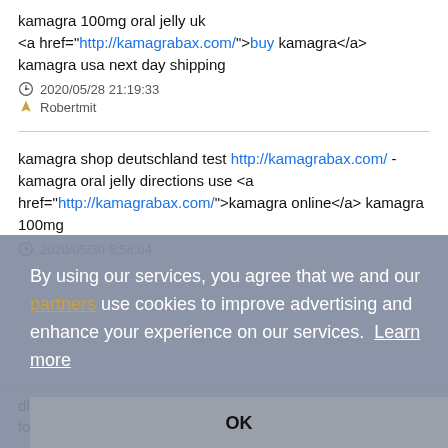kamagra 100mg oral jelly uk <a href="http://kamagrabax.com/">buy kamagra</a> kamagra usa next day shipping
2020/05/28 21:19:33
Robertmit
kamagra shop deutschland test http://kamagrabax.com/ - kamagra oral jelly directions use <a href="http://kamagrabax.com/">kamagra online</a> kamagra 100mg
2020/05/30 6:58:04
[Figure (screenshot): Cookie consent overlay with text: 'By using our services, you agree that we and our partners use cookies to improve advertising and enhance your experience on our services. Learn more' and an OK button.]
dlp store kamagra http://kamagrabax.com/ - kamagra oral jelly for